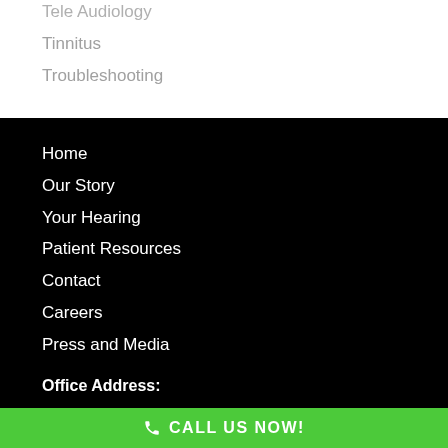Tele Audiology
Tinnitus
Troubleshooting
Home
Our Story
Your Hearing
Patient Resources
Contact
Careers
Press and Media
Office Address:
CALL US NOW!